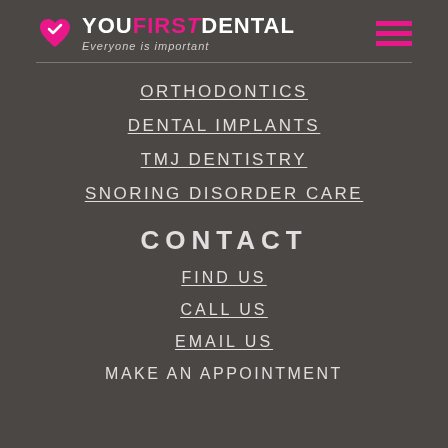[Figure (logo): YouFirst Dental logo with pink heart icon, text 'YOUFIRSTDENTAL Everyone is important', and hamburger menu icon in pink]
ORTHODONTICS
DENTAL IMPLANTS
TMJ DENTISTRY
SNORING DISORDER CARE
CONTACT
FIND US
CALL US
EMAIL US
MAKE AN APPOINTMENT